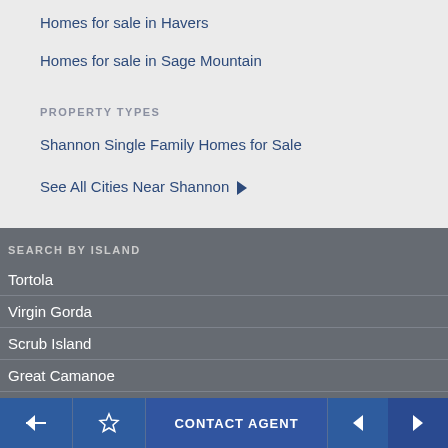Homes for sale in Havers
Homes for sale in Sage Mountain
PROPERTY TYPES
Shannon Single Family Homes for Sale
See All Cities Near Shannon ▶
SEARCH BY ISLAND
Tortola
Virgin Gorda
Scrub Island
Great Camanoe
Jost Van Dyke
← ☆ CONTACT AGENT ◄ ►